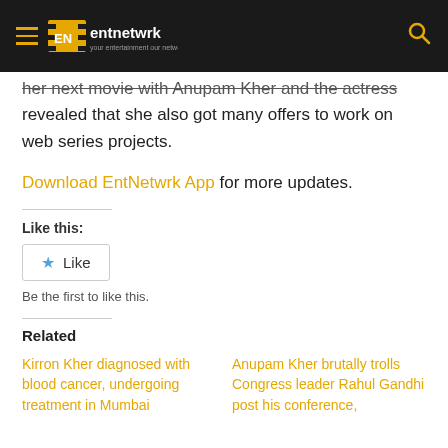EntNetwrk - your entertainment our network
her next movie with Anupam Kher and the actress revealed that she also got many offers to work on web series projects.
Download EntNetwr App for more updates.
Like this:
Like
Be the first to like this.
Related
Kirron Kher diagnosed with blood cancer, undergoing treatment in Mumbai
Anupam Kher brutally trolls Congress leader Rahul Gandhi post his conference,